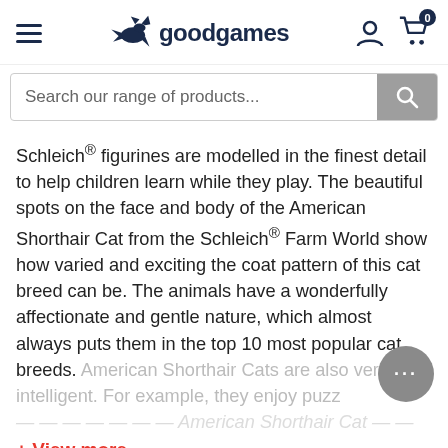goodgames
Search our range of products...
Schleich® figurines are modelled in the finest detail to help children learn while they play. The beautiful spots on the face and body of the American Shorthair Cat from the Schleich® Farm World show how varied and exciting the coat pattern of this cat breed can be. The animals have a wonderfully affectionate and gentle nature, which almost always puts them in the top 10 most popular cat breeds. American Shorthair Cats are also very intelligent. For example, they enjoy puzz...
+ View more